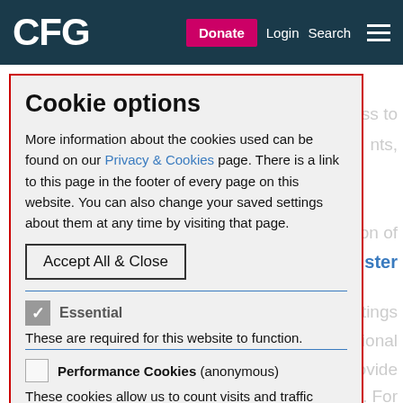CFG   Donate  Login  Search
Cookie options
More information about the cookies used can be found on our Privacy & Cookies page. There is a link to this page in the footer of every page on this website. You can also change your saved settings about them at any time by visiting that page.
Accept All & Close
Essential
These are required for this website to function.
Performance Cookies (anonymous)
These cookies allow us to count visits and traffic sources so we can measure and improve the performance of our site. They help us to know which pages are the most and least popular and see how